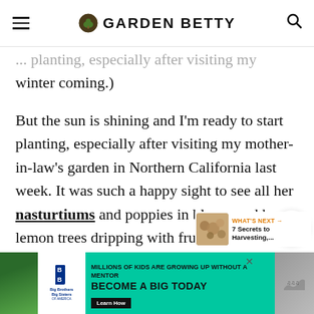GARDEN BETTY
...planting, especially after visiting my mother-in-law's garden in Northern California last week... winter coming.)
But the sun is shining and I'm ready to start planting, especially after visiting my mother-in-law's garden in Northern California last week. It was such a happy sight to see all her nasturtiums and poppies in bloom and her lemon trees dripping with fruit.
[Figure (other): WHAT'S NEXT promotional widget showing '7 Secrets to Harvesting,...' with thumbnail image]
[Figure (other): Advertisement banner: Big Brothers Big Sisters - MILLIONS OF KIDS ARE GROWING UP WITHOUT A MENTOR - BECOME A BIG TODAY - Learn How]